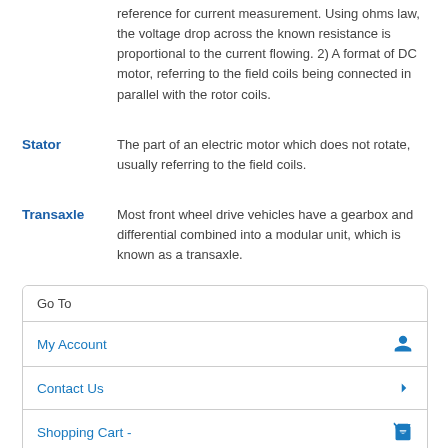reference for current measurement. Using ohms law, the voltage drop across the known resistance is proportional to the current flowing. 2) A format of DC motor, referring to the field coils being connected in parallel with the rotor coils.
Stator — The part of an electric motor which does not rotate, usually referring to the field coils.
Transaxle — Most front wheel drive vehicles have a gearbox and differential combined into a modular unit, which is known as a transaxle.
Go To
My Account
Contact Us
Shopping Cart -